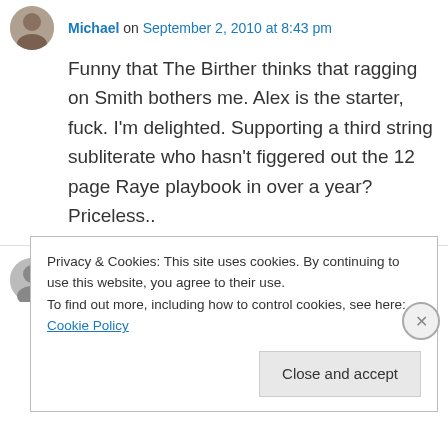Michael on September 2, 2010 at 8:43 pm
Funny that The Birther thinks that ragging on Smith bothers me. Alex is the starter, fuck. I'm delighted. Supporting a third string subliterate who hasn't figgered out the 12 page Raye playbook in over a year? Priceless..
zumarust on September 2, 2010 at 8:53 pm
Man, Singletary really wants to win this
Privacy & Cookies: This site uses cookies. By continuing to use this website, you agree to their use.
To find out more, including how to control cookies, see here: Cookie Policy